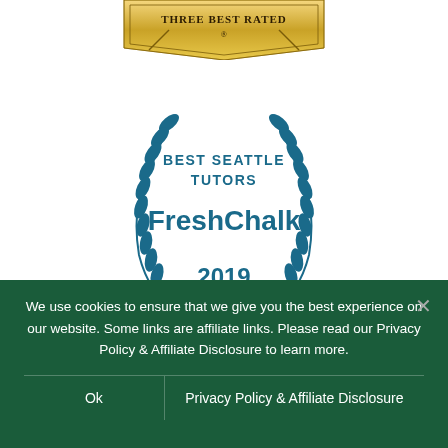[Figure (logo): Three Best Rated gold award badge at top, partially cropped]
[Figure (logo): FreshChalk Best Seattle Tutors 2019 laurel wreath badge in teal/dark blue]
SUBSCRIBE TO OUR BLOG
Every other week, we publish a new article with helpful ideas and
We use cookies to ensure that we give you the best experience on our website. Some links are affiliate links. Please read our Privacy Policy & Affiliate Disclosure to learn more.
Ok
Privacy Policy & Affiliate Disclosure